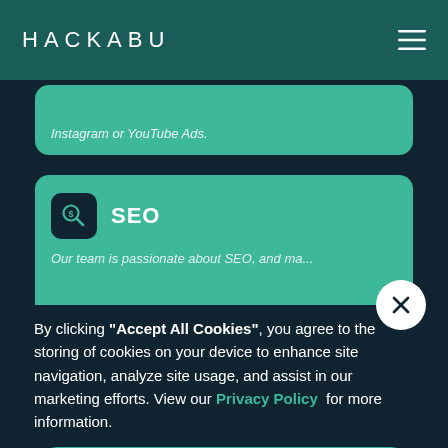HACKABU
Instagram or YouTube Ads.
SEO
Our team is passionate about SEO, and ma...
By clicking “Accept All Cookies”, you agree to the storing of cookies on your device to enhance site navigation, analyze site usage, and assist in our marketing efforts. View our Privacy Policy for more information.
Awesome 🍪
Preferences